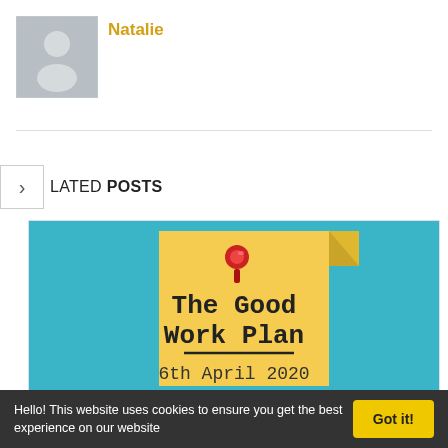[Figure (illustration): Grey placeholder avatar icon (person silhouette) in a grey square box]
Natalie
RELATED POSTS
[Figure (illustration): Blog card thumbnail with blue background showing a yellow sticky note/tag with a red pushpin, text reading 'The Good Work Plan' and '6th April 2020' in handwritten style font]
Hello! This website uses cookies to ensure you get the best experience on our website
Got it!